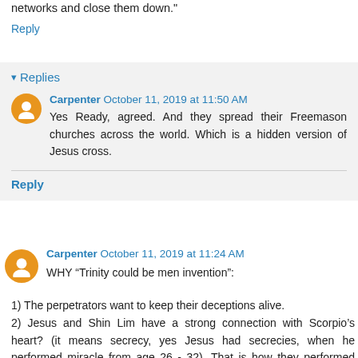networks and close them down."
Reply
Replies
Carpenter October 11, 2019 at 11:50 AM
Yes Ready, agreed. And they spread their Freemason churches across the world. Which is a hidden version of Jesus cross.
Reply
Carpenter October 11, 2019 at 11:24 AM
WHY “Trinity could be men invention”:
1) The perpetrators want to keep their deceptions alive.
2) Jesus and Shin Lim have a strong connection with Scorpio’s heart? (it means secrecy, yes Jesus had secrecies, when he performed miracle from age 26 - 32). That is how they performed magical power. Jesus was